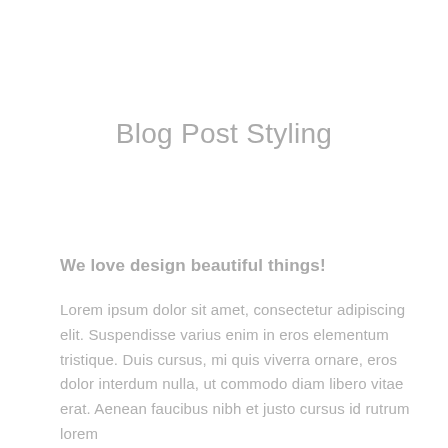Blog Post Styling
We love design beautiful things!
Lorem ipsum dolor sit amet, consectetur adipiscing elit. Suspendisse varius enim in eros elementum tristique. Duis cursus, mi quis viverra ornare, eros dolor interdum nulla, ut commodo diam libero vitae erat. Aenean faucibus nibh et justo cursus id rutrum lorem